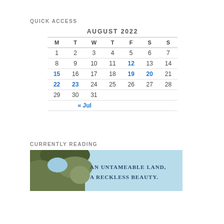QUICK ACCESS
| M | T | W | T | F | S | S |
| --- | --- | --- | --- | --- | --- | --- |
| 1 | 2 | 3 | 4 | 5 | 6 | 7 |
| 8 | 9 | 10 | 11 | 12 | 13 | 14 |
| 15 | 16 | 17 | 18 | 19 | 20 | 21 |
| 22 | 23 | 24 | 25 | 26 | 27 | 28 |
| 29 | 30 | 31 |  |  |  |  |
|  | « Jul |  |  |  |  |  |
CURRENTLY READING
[Figure (illustration): Book cover image showing trees and sky with text 'AN UNTAMEABLE LAND, A RECKLESS BEAUTY']